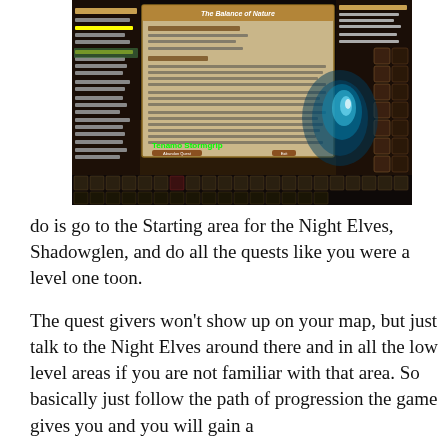[Figure (screenshot): World of Warcraft game screenshot showing a quest log or quest description panel open, with character UI elements, action bars, and a character named 'Tenamo Stormgrip' visible in a fantasy forest environment. The quest panel appears to show 'The Balance of Nature' quest.]
do is go to the Starting area for the Night Elves, Shadowglen, and do all the quests like you were a level one toon.
The quest givers won’t show up on your map, but just talk to the Night Elves around there and in all the low level areas if you are not familiar with that area. So basically just follow the path of progression the game gives you and you will gain a